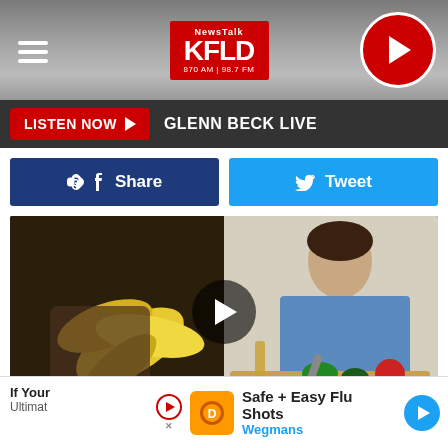NewsTalk KFLD 870 AM 98.7 FM
LISTEN NOW ▶ GLENN BECK LIVE
Share
Tweet
[Figure (photo): Video thumbnail showing a person peeling a banana on the left and a man in a blue shirt chopping vegetables on a cutting board on the right, with a play button overlay in the center]
If Your
Ultimat
Safe + Easy Flu Shots
Wegmans